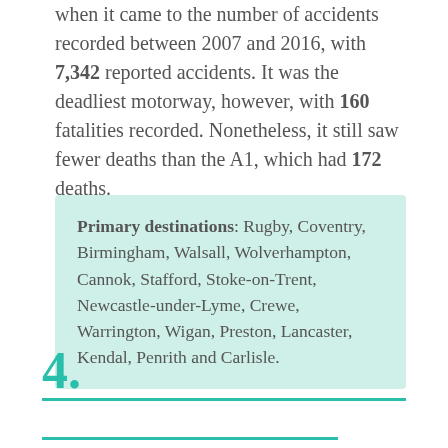when it came to the number of accidents recorded between 2007 and 2016, with 7,342 reported accidents. It was the deadliest motorway, however, with 160 fatalities recorded. Nonetheless, it still saw fewer deaths than the A1, which had 172 deaths.
Primary destinations: Rugby, Coventry, Birmingham, Walsall, Wolverhampton, Cannok, Stafford, Stoke-on-Trent, Newcastle-under-Lyme, Crewe, Warrington, Wigan, Preston, Lancaster, Kendal, Penrith and Carlisle.
4.